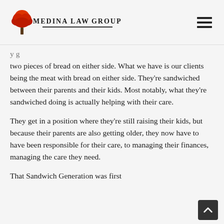Medina Law Group
two pieces of bread on either side. What we have is our clients being the meat with bread on either side. They're sandwiched between their parents and their kids. Most notably, what they're sandwiched doing is actually helping with their care.
They get in a position where they're still raising their kids, but because their parents are also getting older, they now have to have been responsible for their care, to managing their finances, managing the care they need.
That Sandwich Generation was first